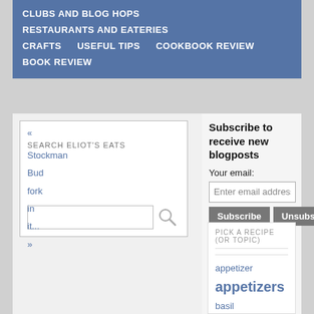CLUBS AND BLOG HOPS | RESTAURANTS AND EATERIES | CRAFTS | USEFUL TIPS | COOKBOOK REVIEW | BOOK REVIEW
« SEARCH ELIOT'S EATS »
Stockman
Bud
fork
in
it...
Subscribe to receive new blogposts
Your email:
Enter email address...
Subscribe  Unsubscribe
PICK A RECIPE (OR TOPIC)
appetizer  appetizers  basil  beverage  Bread  breakfast  cake  canning  carrots  chicken  chocolate  Christmas  cocktail  cookies  Cook the Books